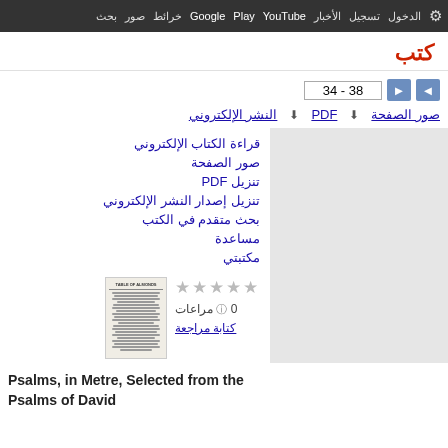بحث صور خرائط Google Play YouTube الأخبار تسجيل الدخول الإعدادات
كتب
34 - 38
صور الصفحة  PDF  النشر الإلكتروني
قراءة الكتاب الإلكتروني
صور الصفحة
تنزيل PDF
تنزيل إصدار النشر الإلكتروني
بحث متقدم في الكتب
مساعدة
مكتبتي
★★★★★  0 مراعات  كتابة مراجعة
[Figure (photo): Book cover thumbnail of Psalms in Metre]
Psalms, in Metre, Selected from the Psalms of David